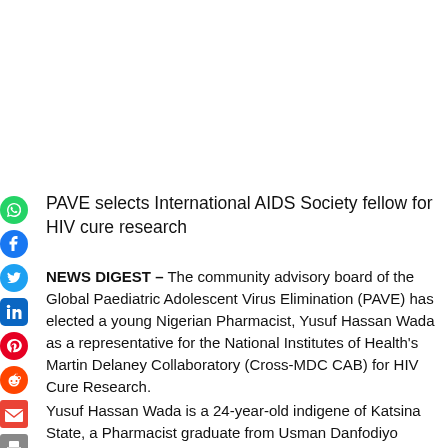PAVE selects International AIDS Society fellow for HIV cure research
NEWS DIGEST – The community advisory board of the Global Paediatric Adolescent Virus Elimination (PAVE) has elected a young Nigerian Pharmacist, Yusuf Hassan Wada as a representative for the National Institutes of Health's Martin Delaney Collaboratory (Cross-MDC CAB) for HIV Cure Research.
Yusuf Hassan Wada is a 24-year-old indigene of Katsina State, a Pharmacist graduate from Usman Danfodiyo University Sokoto, an International AIDS Society(IAS) Alumni/Fellow of the Advocacy-for-cure academy, and also the winner of Pharmanews award 2019.
According to Yusuf, the Martin Delaney Collaboratories for HIV Cure Research is a flagship National Institute Health program on